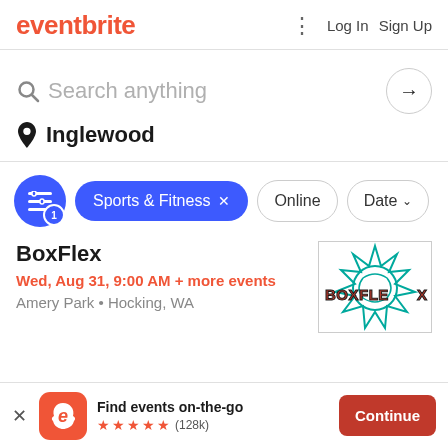eventbrite   Log In  Sign Up
Search anything
Inglewood
Sports & Fitness  x   Online   Date
BoxFlex
Wed, Aug 31, 9:00 AM + more events
Amery Park • Hocking, WA
[Figure (logo): BoxFlex logo with teal burst/star graphic and BOXFLEX text in red with black shadow]
Find events on-the-go  ★★★★★ (128k)  Continue